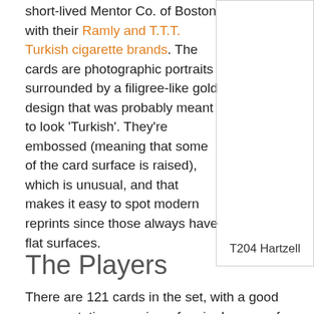short-lived Mentor Co. of Boston with their Ramly and T.T.T. Turkish cigarette brands. The cards are photographic portraits surrounded by a filigree-like gold design that was probably meant to look 'Turkish'. They're embossed (meaning that some of the card surface is raised), which is unusual, and that makes it easy to spot modern reprints since those always have flat surfaces.
T204 Hartzell
The Players
There are 121 cards in the set, with a good representative overview of major leaguers from 1909. 15 Hall of Famers are included, but notable stars like Mathewson and Cobb were